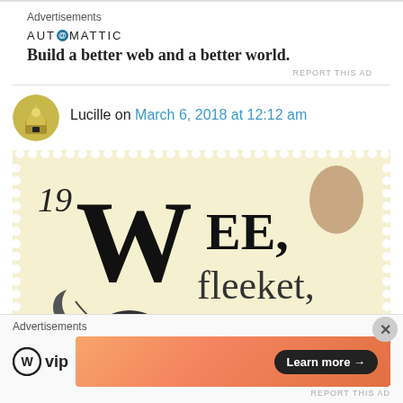Advertisements
[Figure (logo): Automattic logo with circular @ symbol and tagline 'Build a better web and a better world.']
REPORT THIS AD
Lucille on March 6, 2018 at 12:12 am
[Figure (photo): A postage stamp showing text 'Wee, fleeket, cowran,' with large decorative typography and a silhouette of Queen Elizabeth II, and a small mouse illustration at the bottom. The stamp number is 19.]
Advertisements
[Figure (logo): WordPress VIP logo and a Learn more button on an orange gradient banner]
REPORT THIS AD